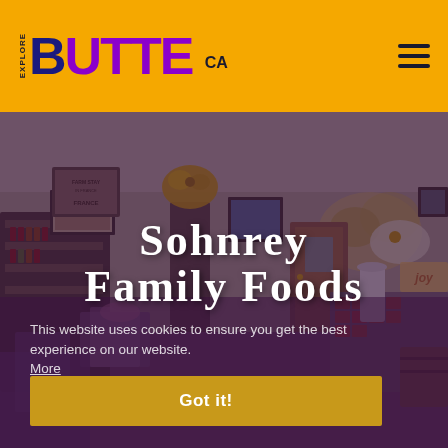EXPLORE BUTTE CA
[Figure (photo): Interior of Sohnrey Family Foods store showing shelves with products, floral arrangements, framed artwork on walls, and a wooden door in the background. Purple-toned overlay covers lower portion.]
Sohnrey Family Foods
This website uses cookies to ensure you get the best experience on our website.
More
Got it!